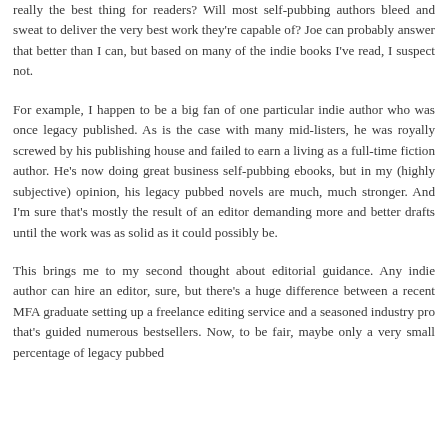really the best thing for readers? Will most self-pubbing authors bleed and sweat to deliver the very best work they're capable of? Joe can probably answer that better than I can, but based on many of the indie books I've read, I suspect not.
For example, I happen to be a big fan of one particular indie author who was once legacy published. As is the case with many mid-listers, he was royally screwed by his publishing house and failed to earn a living as a full-time fiction author. He's now doing great business self-pubbing ebooks, but in my (highly subjective) opinion, his legacy pubbed novels are much, much stronger. And I'm sure that's mostly the result of an editor demanding more and better drafts until the work was as solid as it could possibly be.
This brings me to my second thought about editorial guidance. Any indie author can hire an editor, sure, but there's a huge difference between a recent MFA graduate setting up a freelance editing service and a seasoned industry pro that's guided numerous bestsellers. Now, to be fair, maybe only a very small percentage of legacy pubbed